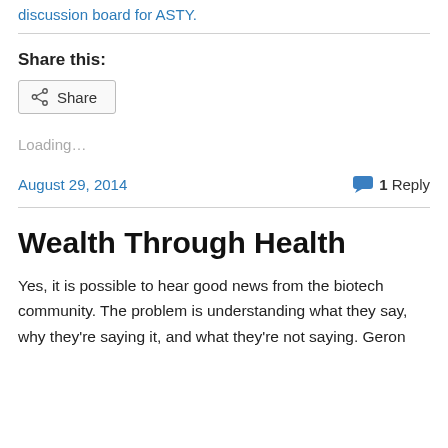discussion board for ASTY.
Share this:
[Figure (other): Share button with share icon]
Loading...
August 29, 2014
1 Reply
Wealth Through Health
Yes, it is possible to hear good news from the biotech community. The problem is understanding what they say, why they're saying it, and what they're not saying. Geron